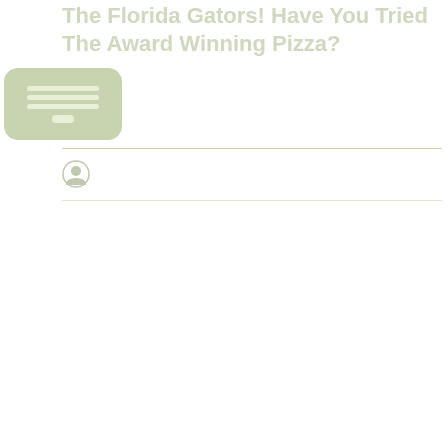The Florida Gators! Have You Tried The Award Winning Pizza?
[Figure (illustration): Navigation/menu UI block rendered as a rounded rectangle with horizontal lines suggesting a menu or navigation element, in muted green/tan color]
[Figure (illustration): Small circular author avatar icon with a silhouette figure]